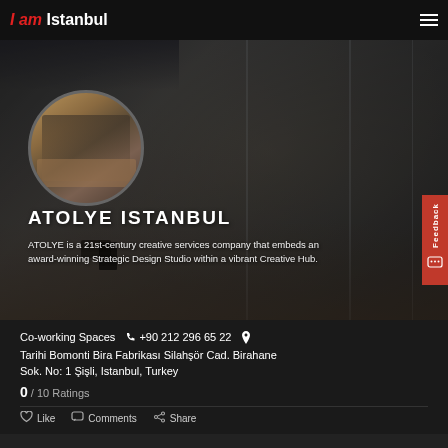I am Istanbul
[Figure (photo): Interior of a modern co-working space/creative studio with glass partitions, desks, chairs, and warm wooden floors. Dark/moody lighting. Circular profile photo of the same space overlaid on the background.]
ATOLYE ISTANBUL
ATOLYE is a 21st-century creative services company that embeds an award-winning Strategic Design Studio within a vibrant Creative Hub.
Co-working Spaces  +90 212 296 65 22  Tarihi Bomonti Bira Fabrikası Silahşör Cad. Birahane Sok. No: 1 Şişli, Istanbul, Turkey
0 / 10 Ratings
Like  Comments  Share